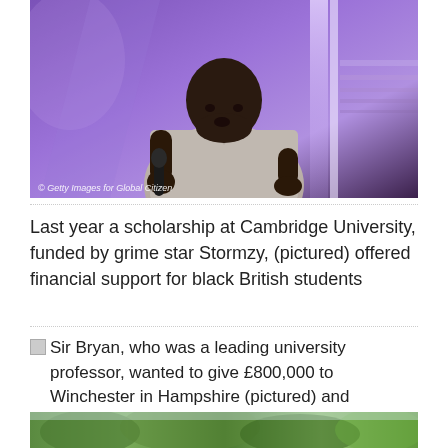[Figure (photo): Grime star Stormzy performing on stage, holding a microphone, wearing a white/grey polo shirt, against a purple stage lighting background. Watermark reads: © Getty Images for Global Citizen]
Last year a scholarship at Cambridge University, funded by grime star Stormzy, (pictured) offered financial support for black British students
Sir Bryan, who was a leading university professor, wanted to give £800,000 to Winchester in Hampshire (pictured) and £400,000 to Dulwich in south London
[Figure (photo): Partial photo of a building/outdoor scene, appears to be Winchester or a similar location with greenery]